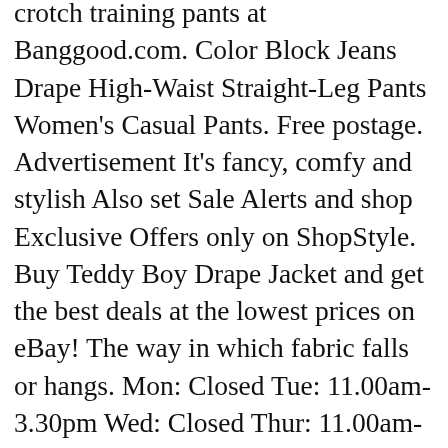crotch training pants at Banggood.com. Color Block Jeans Drape High-Waist Straight-Leg Pants Women's Casual Pants. Free postage. Advertisement It's fancy, comfy and stylish Also set Sale Alerts and shop Exclusive Offers only on ShopStyle. Buy Teddy Boy Drape Jacket and get the best deals at the lowest prices on eBay! The way in which fabric falls or hangs. Mon: Closed Tue: 11.00am-3.30pm Wed: Closed Thur: 11.00am-3.30pm Fri: 11.00am-3.30pm Sat: 10.30am-1.30pm Sun: Closed 07714 246106 info@londonboots.com. Greasers are a youth subculture that emerged in the 1950s and early 1960s from predominantly working class and lower class teenagers and young adults in the United States.The subculture remained prominent into the mid-1960s and was particularly embraced by certain ethnic groups in urban